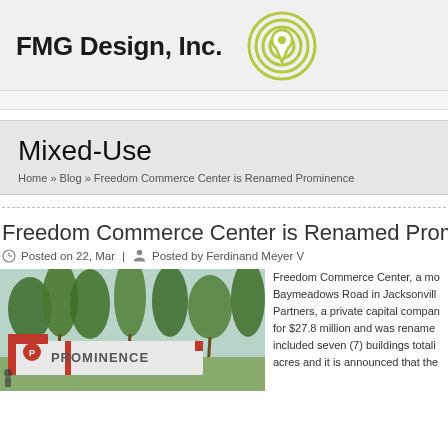FMG Design, Inc.
Mixed-Use
Home » Blog » Freedom Commerce Center is Renamed Prominence
Freedom Commerce Center is Renamed Prominence
Posted on 22, Mar | Posted by Ferdinand Meyer V
[Figure (photo): Rendered image of Prominence signage with red and white sign showing 'PROMINENCE' logo with palm trees in background]
Freedom Commerce Center, a mo... Baymeadows Road in Jacksonville... Partners, a private capital compan... for $27.8 million and was rename... included seven (7) buildings totali... acres and it is announced that the...